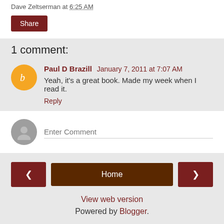Dave Zeltserman at 6:25 AM
Share
1 comment:
Paul D Brazill  January 7, 2011 at 7:07 AM
Yeah, it's a great book. Made my week when I read it.
Reply
Enter Comment
Home
View web version
Powered by Blogger.